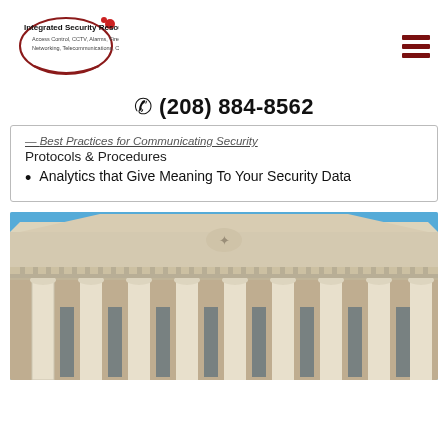[Figure (logo): Integrated Security Resources, Inc. logo with oval graphic and tagline: Access Control, CCTV, Alarms, Fire, Networking, Telecommunications, Cabling]
(208) 884-8562
Protocols & Procedures
Analytics that Give Meaning To Your Security Data
[Figure (photo): Photograph of a classical government or courthouse building with Ionic columns, decorative cornice, and blue sky background]